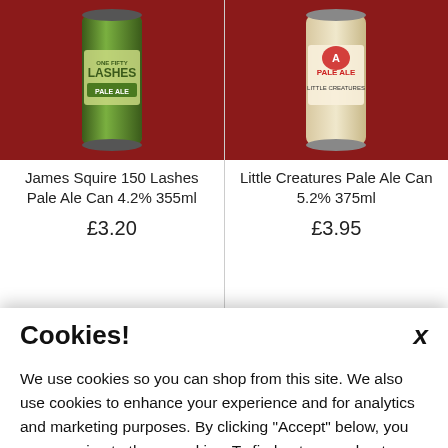[Figure (photo): James Squire 150 Lashes Pale Ale can on red background]
James Squire 150 Lashes Pale Ale Can 4.2% 355ml
£3.20
[Figure (photo): Little Creatures Pale Ale can on red background]
Little Creatures Pale Ale Can 5.2% 375ml
£3.95
Cookies!
We use cookies so you can shop from this site. We also use cookies to enhance your experience and for analytics and marketing purposes. By clicking "Accept" below, you are agreeing to these cookies. To find out more about our cookies please click here.
Accept
Decline